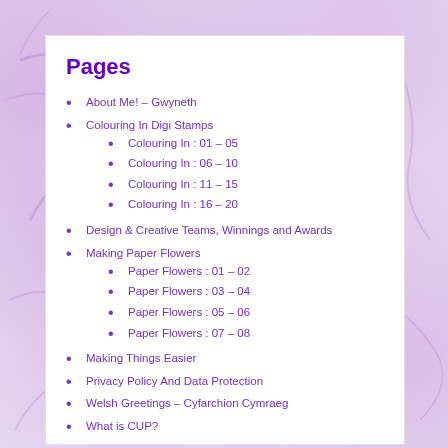Pages
About Me! – Gwyneth
Colouring In Digi Stamps
Colouring In : 01 – 05
Colouring In : 06 – 10
Colouring In : 11 – 15
Colouring In : 16 – 20
Design & Creative Teams, Winnings and Awards
Making Paper Flowers
Paper Flowers : 01 – 02
Paper Flowers : 03 – 04
Paper Flowers : 05 – 06
Paper Flowers : 07 – 08
Making Things Easier
Privacy Policy And Data Protection
Welsh Greetings – Cyfarchion Cymraeg
What is CUP?